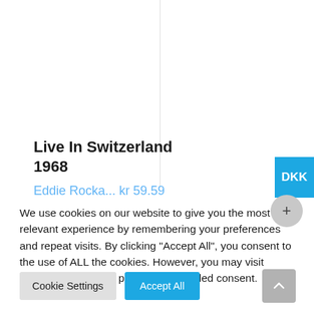Live In Switzerland 1968
We use cookies on our website to give you the most relevant experience by remembering your preferences and repeat visits. By clicking "Accept All", you consent to the use of ALL the cookies. However, you may visit "Cookie Settings" to provide a controlled consent.
Cookie Settings
Accept All